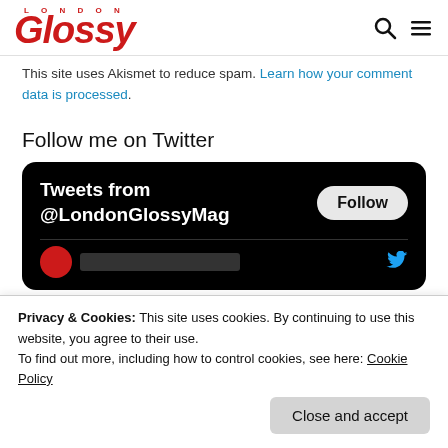Glossy London
This site uses Akismet to reduce spam. Learn how your comment data is processed.
Follow me on Twitter
[Figure (screenshot): Twitter widget showing 'Tweets from @LondonGlossyMag' with a Follow button on a black background, and a partial profile row at the bottom]
Privacy & Cookies: This site uses cookies. By continuing to use this website, you agree to their use.
To find out more, including how to control cookies, see here: Cookie Policy
Close and accept